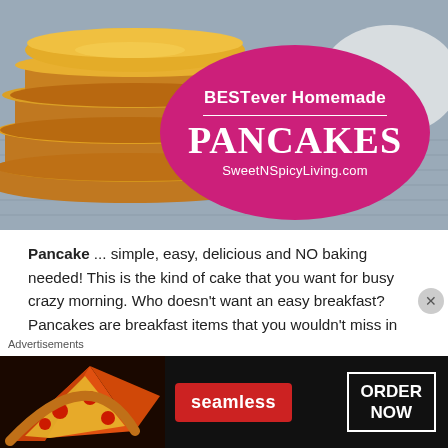[Figure (photo): Hero image of stacked homemade pancakes on a cloth background with a magenta oval badge overlay reading 'BEST ever Homemade PANCAKES SweetNSpicyLiving.com']
Pancake ... simple, easy, delicious and NO baking needed! This is the kind of cake that you want for busy crazy morning. Who doesn't want an easy breakfast? Pancakes are breakfast items that you wouldn't miss in the menu when you eat out in a restaurant, but the good news is you don't have to go to a restaurant to have a good pancake. You can make it at home, and I'm not talking about
[Figure (advertisement): Seamless food delivery advertisement banner with pizza image on left, Seamless logo in red button, and ORDER NOW button on the right, on dark background]